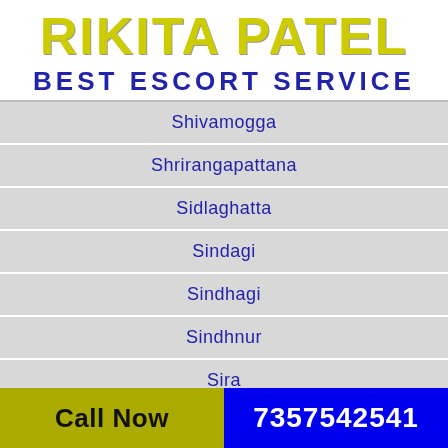RIKITA PATEL BEST ESCORT SERVICE
Shivamogga
Shrirangapattana
Sidlaghatta
Sindagi
Sindhagi
Sindhnur
Sira
Call Now  7357542541